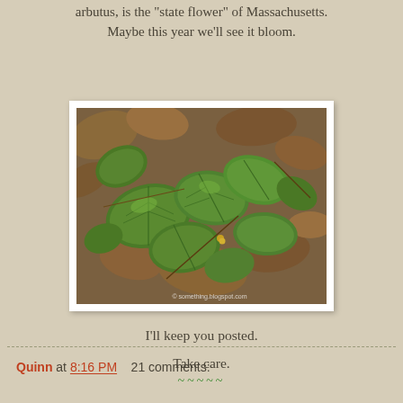arbutus, is the "state flower" of Massachusetts. Maybe this year we'll see it bloom.
[Figure (photo): Close-up photograph of green trailing arbutus leaves among brown dead leaves on the forest floor, with a watermark reading something.blogspot.com]
I'll keep you posted.
Take care.
~~~~~
Quinn at 8:16 PM    21 comments: